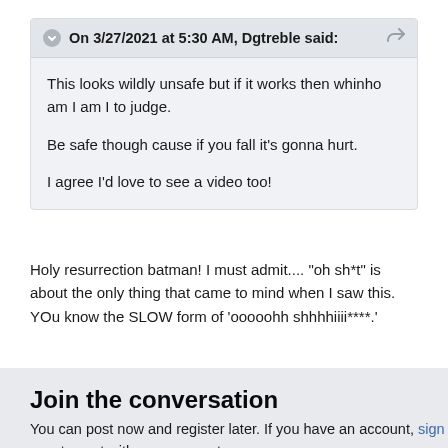On 3/27/2021 at 5:30 AM, Dgtreble said:
This looks wildly unsafe but if it works then whinho am I am I to judge.

Be safe though cause if you fall it's gonna hurt.

I agree I'd love to see a video too!
Holy resurrection batman! I must admit.... "oh sh*t" is about the only thing that came to mind when I saw this. YOu know the SLOW form of 'ooooohh shhhhiiii****.'
+ Quote
Join the conversation
You can post now and register later. If you have an account, sign in now to post with your account.